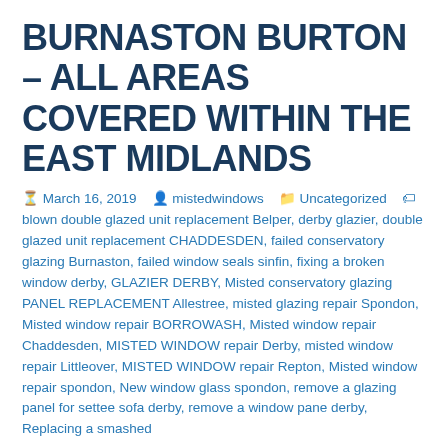BURNASTON BURTON – ALL AREAS COVERED WITHIN THE EAST MIDLANDS
March 16, 2019  mistedwindows  Uncategorized  blown double glazed unit replacement Belper, derby glazier, double glazed unit replacement CHADDESDEN, failed conservatory glazing Burnaston, failed window seals sinfin, fixing a broken window derby, GLAZIER DERBY, Misted conservatory glazing PANEL REPLACEMENT Allestree, misted glazing repair Spondon, Misted window repair BORROWASH, Misted window repair Chaddesden, MISTED WINDOW repair Derby, misted window repair Littleover, MISTED WINDOW repair Repton, Misted window repair spondon, New window glass spondon, remove a glazing panel for settee sofa derby, remove a window pane derby, Replacing a smashed